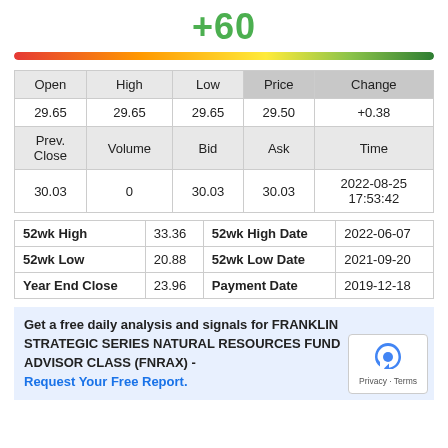[Figure (infographic): Sentiment gauge showing +60 score with a red-to-green color gradient bar]
| Open | High | Low | Price | Change |
| --- | --- | --- | --- | --- |
| 29.65 | 29.65 | 29.65 | 29.50 | +0.38 |
| Prev. Close | Volume | Bid | Ask | Time |
| 30.03 | 0 | 30.03 | 30.03 | 2022-08-25 17:53:42 |
|  |  |  |  |
| --- | --- | --- | --- |
| 52wk High | 33.36 | 52wk High Date | 2022-06-07 |
| 52wk Low | 20.88 | 52wk Low Date | 2021-09-20 |
| Year End Close | 23.96 | Payment Date | 2019-12-18 |
Get a free daily analysis and signals for FRANKLIN STRATEGIC SERIES NATURAL RESOURCES FUND ADVISOR CLASS (FNRAX) - Request Your Free Report.